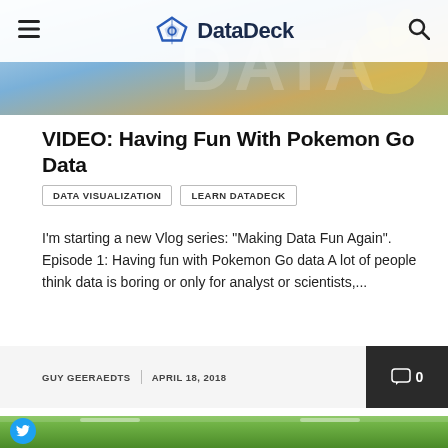DataDeck
[Figure (photo): Hero banner image with Pokemon-themed background and DataDeck logo overlay]
VIDEO: Having Fun With Pokemon Go Data
DATA VISUALIZATION   LEARN DATADECK
I'm starting a new Vlog series: "Making Data Fun Again". Episode 1: Having fun with Pokemon Go data A lot of people think data is boring or only for analyst or scientists,...
GUY GEERAEDTS  |  APRIL 18, 2018  [comment icon] 0
[Figure (photo): Photo of people in a green room, person making a peace sign gesture, social share buttons (Twitter, Facebook) on left side]